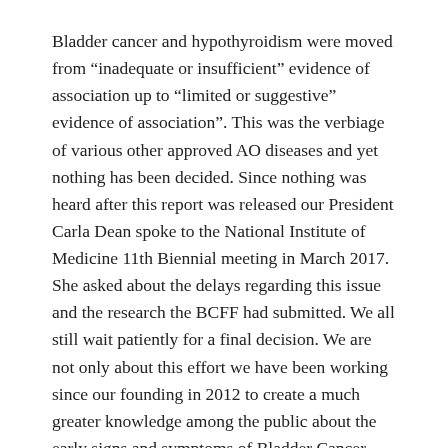Bladder cancer and hypothyroidism were moved from “inadequate or insufficient” evidence of association up to “limited or suggestive” evidence of association”. This was the verbiage of various other approved AO diseases and yet nothing has been decided. Since nothing was heard after this report was released our President Carla Dean spoke to the National Institute of Medicine 11th Biennial meeting in March 2017. She asked about the delays regarding this issue and the research the BCFF had submitted. We all still wait patiently for a final decision. We are not only about this effort we have been working since our founding in 2012 to create a much greater knowledge among the public about the early signs and symptoms of Bladder Cancer.